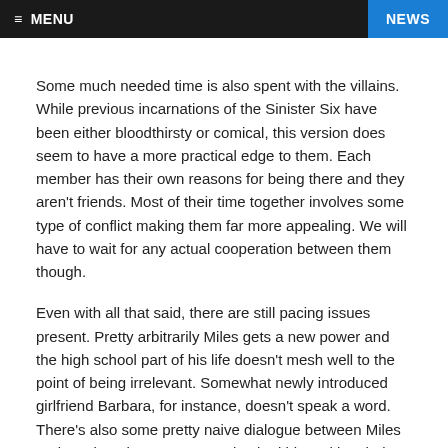≡ MENU | NEWS
Some much needed time is also spent with the villains. While previous incarnations of the Sinister Six have been either bloodthirsty or comical, this version does seem to have a more practical edge to them. Each member has their own reasons for being there and they aren't friends. Most of their time together involves some type of conflict making them far more appealing. We will have to wait for any actual cooperation between them though.
Even with all that said, there are still pacing issues present. Pretty arbitrarily Miles gets a new power and the high school part of his life doesn't mesh well to the point of being irrelevant. Somewhat newly introduced girlfriend Barbara, for instance, doesn't speak a word. There's also some pretty naive dialogue between Miles and Ganke. They're supposed to be kids making their way life but Miles not knowing how he gets his web fluid is a little much. But the biggest problem has to be that